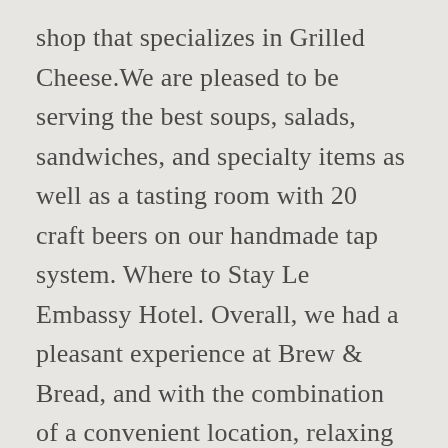shop that specializes in Grilled Cheese.We are pleased to be serving the best soups, salads, sandwiches, and specialty items as well as a tasting room with 20 craft beers on our handmade tap system. Where to Stay Le Embassy Hotel. Overall, we had a pleasant experience at Brew & Bread, and with the combination of a convenient location, relaxing ambience, and food that's hearty and comforting – we can foresee ourselves coming back. izuliana. Outpost: G-03, SUITE WISMA MCA, 163, Jalan Ampang, 50450, Kuala Lumpur Operation Hour: 9am – 5pm (closed on Sunday) Contact: +6010 231 3880 ... Brew&Bread 0m. Thu Fri Sat. Order now and get delivered it to